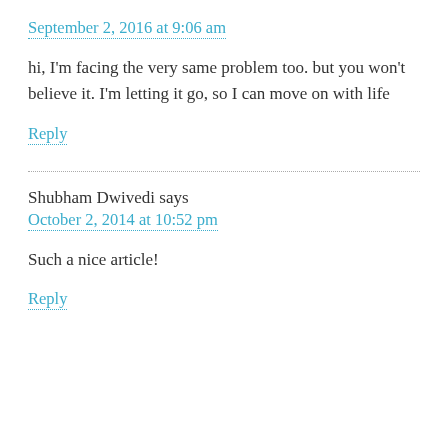September 2, 2016 at 9:06 am
hi, I'm facing the very same problem too. but you won't believe it. I'm letting it go, so I can move on with life
Reply
Shubham Dwivedi says
October 2, 2014 at 10:52 pm
Such a nice article!
Reply